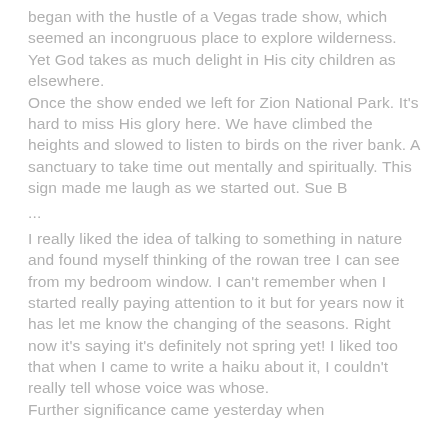began with the hustle of a Vegas trade show, which seemed an incongruous place to explore wilderness. Yet God takes as much delight in His city children as elsewhere.
Once the show ended we left for Zion National Park. It's hard to miss His glory here. We have climbed the heights and slowed to listen to birds on the river bank. A sanctuary to take time out mentally and spiritually. This sign made me laugh as we started out. Sue B
...
I really liked the idea of talking to something in nature and found myself thinking of the rowan tree I can see from my bedroom window. I can't remember when I started really paying attention to it but for years now it has let me know the changing of the seasons. Right now it's saying it's definitely not spring yet! I liked too that when I came to write a haiku about it, I couldn't really tell whose voice was whose.
Further significance came yesterday when